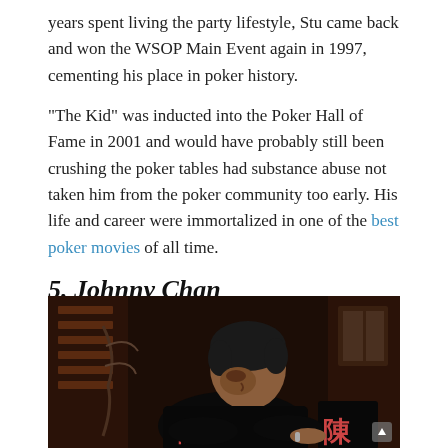years spent living the party lifestyle, Stu came back and won the WSOP Main Event again in 1997, cementing his place in poker history.
"The Kid" was inducted into the Poker Hall of Fame in 2001 and would have probably still been crushing the poker tables had substance abuse not taken him from the poker community too early. His life and career were immortalized in one of the best poker movies of all time.
5. Johnny Chan
[Figure (photo): Photo of Johnny Chan, a poker player, wearing a black shirt with Chinese characters (陳) in red/pink, leaning forward at a poker table.]